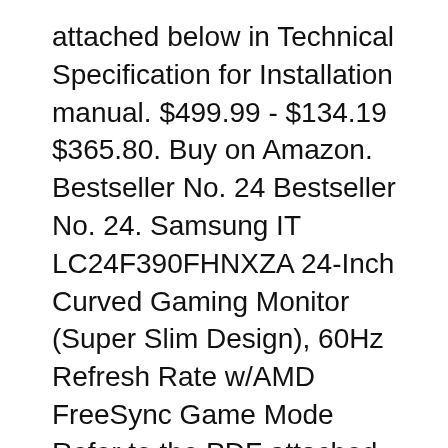attached below in Technical Specification for Installation manual. $499.99 - $134.19 $365.80. Buy on Amazon. Bestseller No. 24 Bestseller No. 24. Samsung IT LC24F390FHNXZA 24-Inch Curved Gaming Monitor (Super Slim Design), 60Hz Refresh Rate w/AMD FreeSync Game Mode Refer to the PDF attached below in Technical Specification for Installation manual. $499.99 - $134.19 $365.80. Buy on Amazon. Bestseller No. 24 Bestseller No. 24.
10/30/2017 · Buy Samsung CF390 Series Curved 21.5-Inch FHD Monitor (C22F390): Everything Else - Amazon.com FREE DELIVERY possible